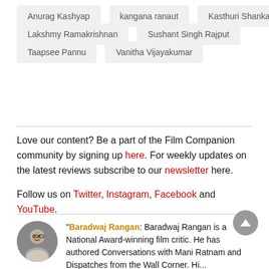Anurag Kashyap
kangana ranaut
Kasthuri Shankar
Lakshmy Ramakrishnan
Sushant Singh Rajput
Taapsee Pannu
Vanitha Vijayakumar
Love our content? Be a part of the Film Companion community by signing up here. For weekly updates on the latest reviews subscribe to our newsletter here.
Follow us on Twitter, Instagram, Facebook and YouTube.
"Baradwaj Rangan: Baradwaj Rangan is a National Award-winning film critic. He has authored Conversations with Mani Ratnam and Dispatches from the Wall Corner. His...